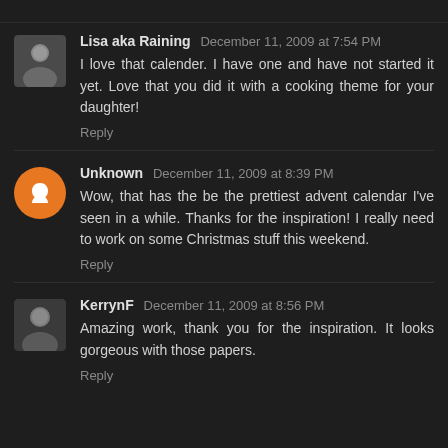Lisa aka Raining  December 11, 2009 at 7:54 PM
I love that calender. I have one and have not started it yet. Love that you did it with a cooking theme for your daughter!
Reply
Unknown  December 11, 2009 at 8:39 PM
Wow, that has the be the prettiest advent calendar I've seen in a while. Thanks for the inspiration! I really need to work on some Christmas stuff this weekend.
Reply
KerrynF  December 11, 2009 at 8:56 PM
Amazing work, thank you for the inspiration. It looks gorgeous with those papers.
Reply